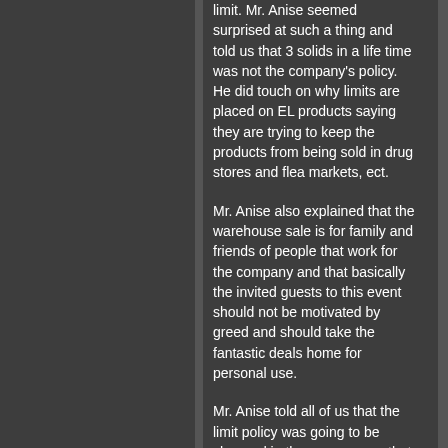limit. Mr. Anise seemed surprised at such a thing and told us that 3 solids in a life time was not the company's policy. He did touch on why limits are placed on EL products saying they are trying to keep the products from being sold in drug stores and flea markets, ect.
Mr. Anise also explained that the warehouse sale is for family and friends of people that work for the company and that basically the invited guests to this event should not be motivated by greed and should take the fantastic deals home for personal use.
Mr. Anise told all of us that the limit policy was going to be changed in the company so that collectors would not be "shut off" by the company.
The biggest issue of the night was by far the damaged solids on eBay.